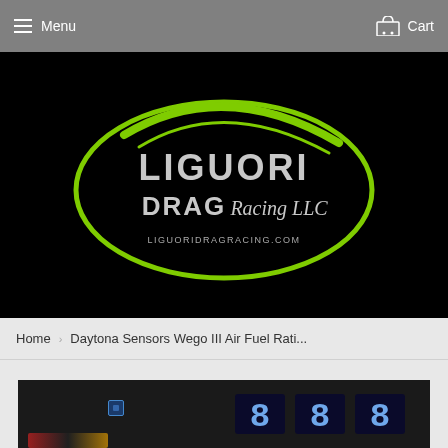Menu   Cart
[Figure (logo): Liguori Drag Racing LLC logo — green ellipse outline with white text reading LIGUORI DRAG Racing LLC and LiguoriDragRacing.com on black background]
Home  ›  Daytona Sensors Wego III Air Fuel Rati...
[Figure (photo): Partial photo of a Daytona Sensors Wego III Air Fuel Ratio device showing digital display with numbers, on black housing with wiring visible]